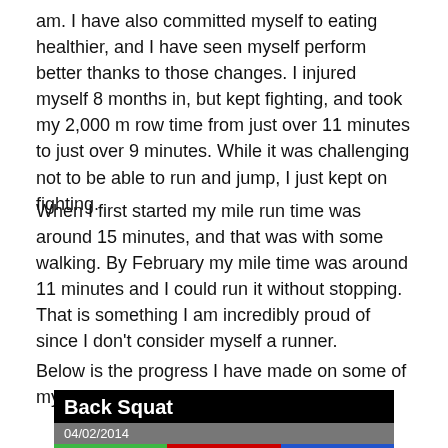am. I have also committed myself to eating healthier, and I have seen myself perform better thanks to those changes. I injured myself 8 months in, but kept fighting, and took my 2,000 m row time from just over 11 minutes to just over 9 minutes. While it was challenging not to be able to run and jump, I just kept on fighting.
When I first started my mile run time was around 15 minutes, and that was with some walking. By February my mile time was around 11 minutes and I could run it without stopping. That is something I am incredibly proud of since I don't consider myself a runner.
Below is the progress I have made on some of my lifts:
[Figure (screenshot): App screenshot showing a 'Back Squat' exercise log with date 04/02/2014 and column headers: Sets (green), Reps (red), Weight (blue)]